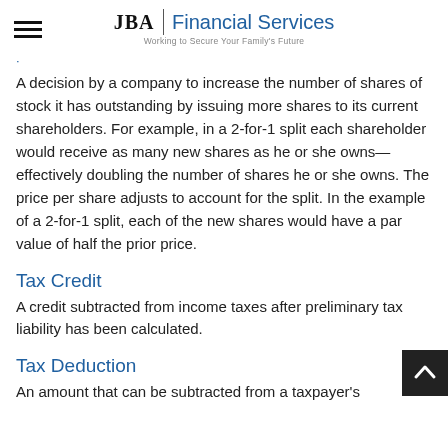JBA | Financial Services — Working to Secure Your Family's Future
·
A decision by a company to increase the number of shares of stock it has outstanding by issuing more shares to its current shareholders. For example, in a 2-for-1 split each shareholder would receive as many new shares as he or she owns—effectively doubling the number of shares he or she owns. The price per share adjusts to account for the split. In the example of a 2-for-1 split, each of the new shares would have a par value of half the prior price.
Tax Credit
A credit subtracted from income taxes after preliminary tax liability has been calculated.
Tax Deduction
An amount that can be subtracted from a taxpayer's